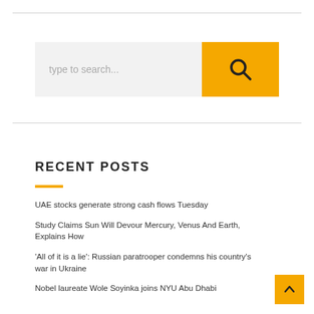[Figure (other): Search bar with text input field showing 'type to search...' placeholder and a yellow search button with magnifying glass icon]
RECENT POSTS
UAE stocks generate strong cash flows Tuesday
Study Claims Sun Will Devour Mercury, Venus And Earth, Explains How
'All of it is a lie': Russian paratrooper condemns his country's war in Ukraine
Nobel laureate Wole Soyinka joins NYU Abu Dhabi